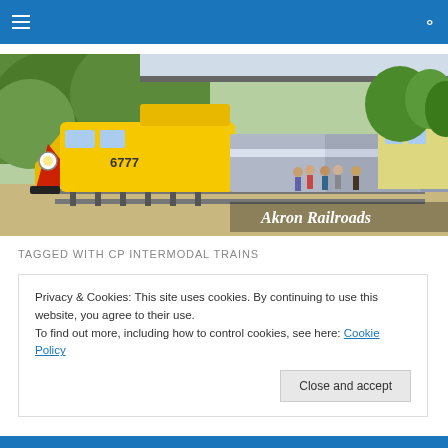Navigation bar with hamburger menu and search icon
[Figure (photo): A yellow and black diesel locomotive numbered 6777 pulling a train at a station platform. A yellow station building labeled 'Akron Railroads' is visible on the right. Trees and a bridge are in the background. People are standing on the platform.]
TAGGED WITH CP INTERMODAL TRAINS
Privacy & Cookies: This site uses cookies. By continuing to use this website, you agree to their use.
To find out more, including how to control cookies, see here: Cookie Policy
Close and accept